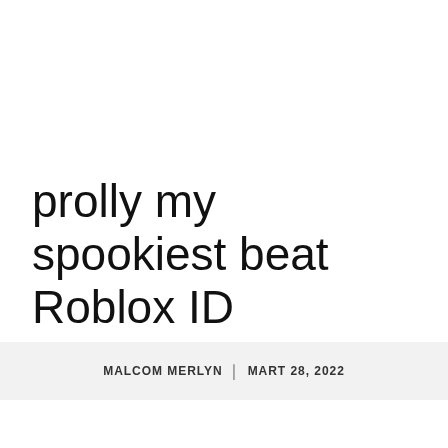prolly my spookiest beat Roblox ID
MALCOM MERLYN  |  MART 28, 2022